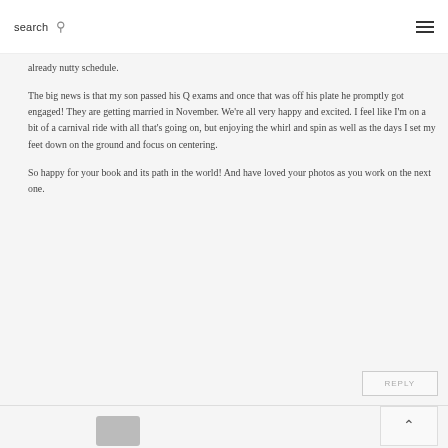search  ≡
already nutty schedule.
The big news is that my son passed his Q exams and once that was off his plate he promptly got engaged! They are getting married in November. We're all very happy and excited. I feel like I'm on a bit of a carnival ride with all that's going on, but enjoying the whirl and spin as well as the days I set my feet down on the ground and focus on centering.
So happy for your book and its path in the world! And have loved your photos as you work on the next one.
REPLY